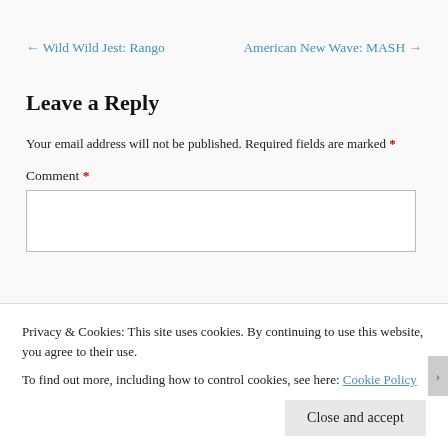← Wild Wild Jest: Rango
American New Wave: MASH →
Leave a Reply
Your email address will not be published. Required fields are marked *
Comment *
Privacy & Cookies: This site uses cookies. By continuing to use this website, you agree to their use.
To find out more, including how to control cookies, see here: Cookie Policy
Close and accept